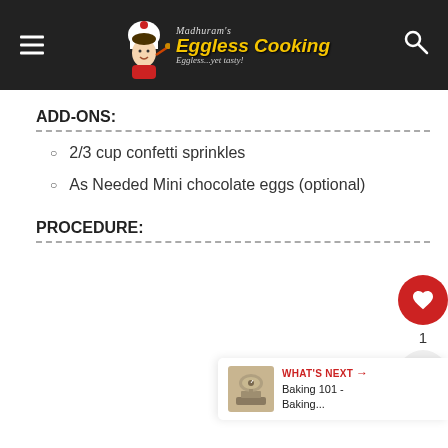Madhuram's Eggless Cooking - Eggless...yet tasty!
ADD-ONS:
2/3 cup confetti sprinkles
As Needed Mini chocolate eggs (optional)
PROCEDURE:
[Figure (infographic): What's Next panel with kitchen scale image, label 'WHAT'S NEXT →' in red, and text 'Baking 101 - Baking...']
[Figure (infographic): Like button (red circle with heart, count 1) and share button (grey circle with share icon)]